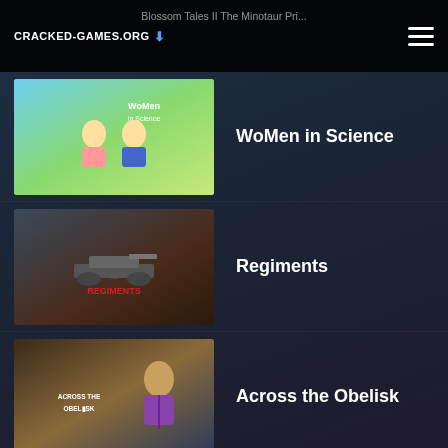cracked-games.org | Blossom Tales II The Minotaur Pri...
WoMen in Science
Regiments
Across the Obelisk
ULTRAKILL
Way of the Hunter
City Eye